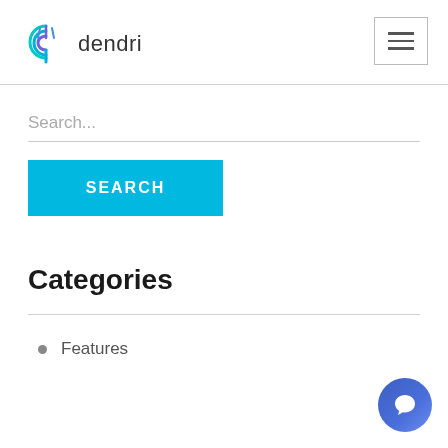[Figure (logo): Dendri logo with teal/purple stylized 'd' icon and text 'dendri']
[Figure (other): Hamburger menu button (three horizontal lines) in a bordered rectangle]
Search...
SEARCH
Categories
Features
[Figure (other): Chat bubble button in blue/purple gradient circle at bottom right]